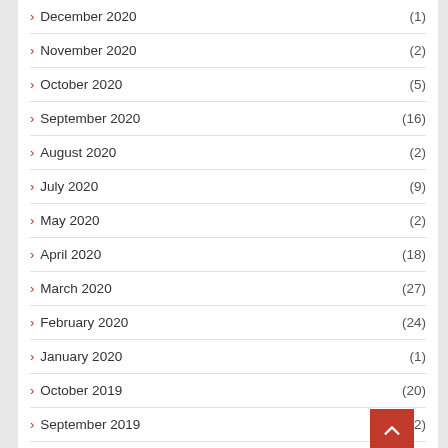December 2020 (1)
November 2020 (2)
October 2020 (5)
September 2020 (16)
August 2020 (2)
July 2020 (9)
May 2020 (2)
April 2020 (18)
March 2020 (27)
February 2020 (24)
January 2020 (1)
October 2019 (20)
September 2019 (32)
August 2019
July 2019 (5)